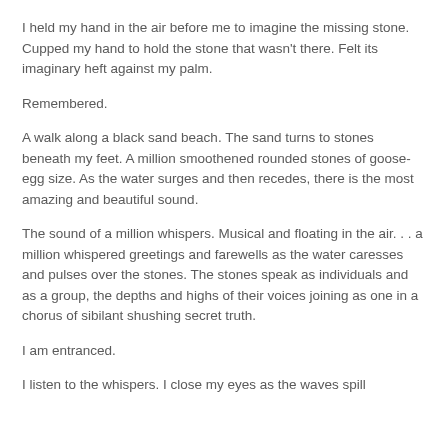I held my hand in the air before me to imagine the missing stone. Cupped my hand to hold the stone that wasn't there. Felt its imaginary heft against my palm.
Remembered.
A walk along a black sand beach. The sand turns to stones beneath my feet. A million smoothened rounded stones of goose-egg size. As the water surges and then recedes, there is the most amazing and beautiful sound.
The sound of a million whispers. Musical and floating in the air. . . a million whispered greetings and farewells as the water caresses and pulses over the stones. The stones speak as individuals and as a group, the depths and highs of their voices joining as one in a chorus of sibilant shushing secret truth.
I am entranced.
I listen to the whispers. I close my eyes as the waves spill